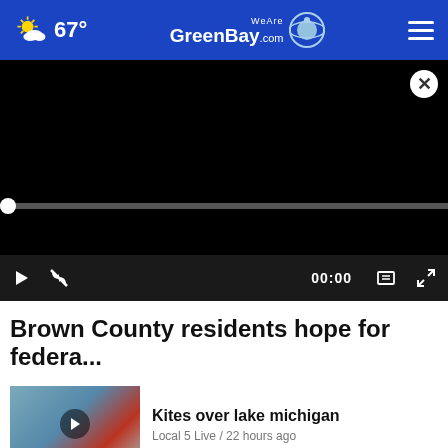67° WeAreGreenBay.com
[Figure (screenshot): Black video player with progress bar at bottom, showing paused state at 00:00]
Brown County residents hope for federa...
[Figure (screenshot): Thumbnail image of kites over Lake Michigan with play button overlay]
Kites over lake michigan
Local 5 Live / 22 hours ago